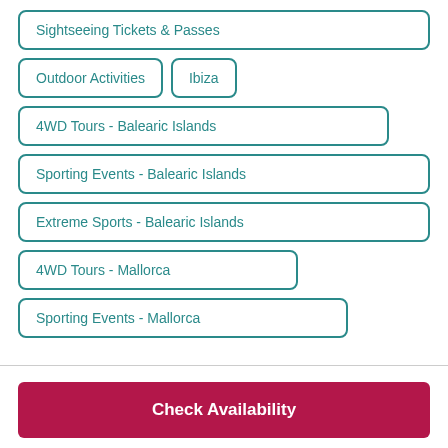Sightseeing Tickets & Passes
Outdoor Activities
Ibiza
4WD Tours - Balearic Islands
Sporting Events - Balearic Islands
Extreme Sports - Balearic Islands
4WD Tours - Mallorca
Sporting Events - Mallorca
Check Availability